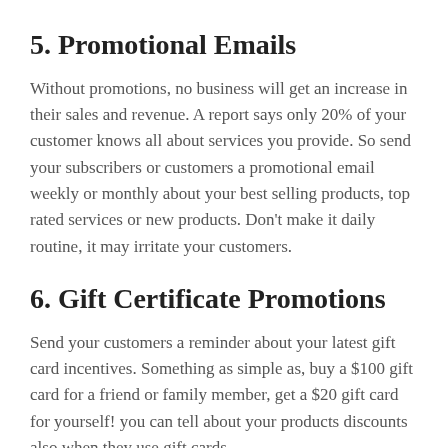5. Promotional Emails
Without promotions, no business will get an increase in their sales and revenue. A report says only 20% of your customer knows all about services you provide. So send your subscribers or customers a promotional email weekly or monthly about your best selling products, top rated services or new products. Don’t make it daily routine, it may irritate your customers.
6. Gift Certificate Promotions
Send your customers a reminder about your latest gift card incentives. Something as simple as, buy a $100 gift card for a friend or family member, get a $20 gift card for yourself! you can tell about your products discounts also when they use gift cards.